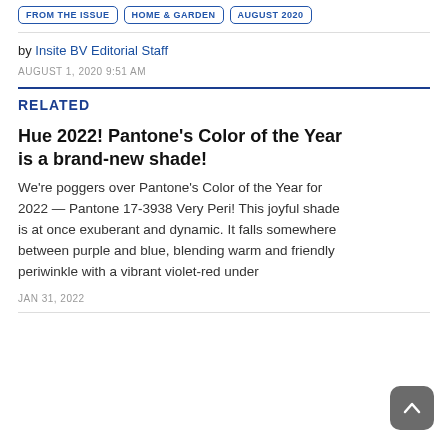FROM THE ISSUE | HOME & GARDEN | AUGUST 2020
by Insite BV Editorial Staff
AUGUST 1, 2020 9:51 AM
RELATED
Hue 2022! Pantone's Color of the Year is a brand-new shade!
We're poggers over Pantone's Color of the Year for 2022 — Pantone 17-3938 Very Peri! This joyful shade is at once exuberant and dynamic. It falls somewhere between purple and blue, blending warm and friendly periwinkle with a vibrant violet-red under
JAN 31, 2022